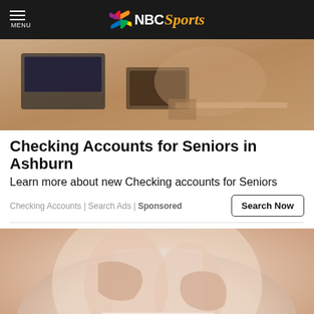MENU | NBC Sports
[Figure (photo): Person at desk using calculator with papers and laptop, overhead view]
Checking Accounts for Seniors in Ashburn
Learn more about new Checking accounts for Seniors
Checking Accounts | Search Ads | Sponsored
Search Now
[Figure (photo): Close-up of a woman in a white tank top with hands on chest area]